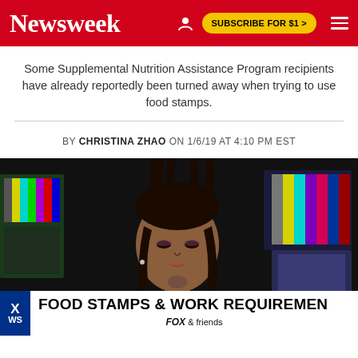Newsweek | SUBSCRIBE FOR $1 >
Some Supplemental Nutrition Assistance Program recipients have already reportedly been turned away when trying to use food stamps.
BY CHRISTINA ZHAO ON 1/6/19 AT 4:10 PM EST
[Figure (screenshot): Screenshot of a Fox News segment showing a woman being interviewed on air. Lower third graphic reads 'FOOD STAMPS & WORK REQUIREMEN' and 'FOX & friends']